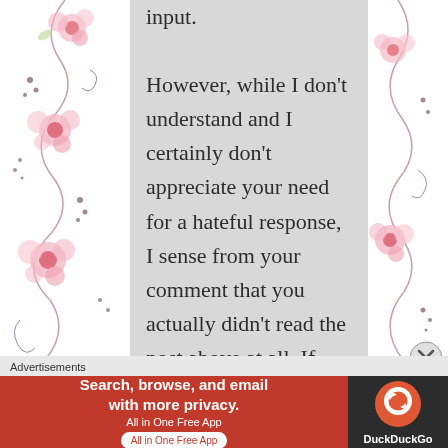[Figure (illustration): Decorative floral pattern on left and right side panels with pink flowers and swirling vines on white background]
input. However, while I don't understand and I certainly don't appreciate your need for a hateful response, I sense from your comment that you actually didn't read the post above at all. If you
Advertisements
[Figure (screenshot): DuckDuckGo advertisement banner: red background with text 'Search, browse, and email with more privacy. All in One Free App' and DuckDuckGo logo on dark right side]